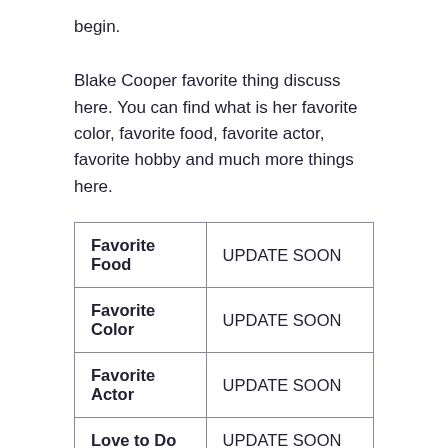begin.
Blake Cooper favorite thing discuss here. You can find what is her favorite color, favorite food, favorite actor, favorite hobby and much more things here.
| Favorite Food | UPDATE SOON |
| Favorite Color | UPDATE SOON |
| Favorite Actor | UPDATE SOON |
| Love to Do | UPDATE SOON |
Some FAQ of Blake Cooper